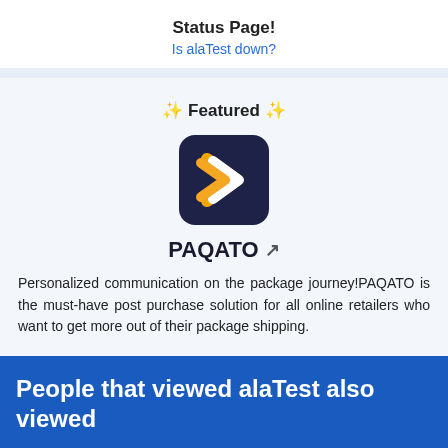Status Page!
Is alaTest down?
✨ Featured ✨
[Figure (logo): PAQATO logo: dark navy rounded square with orange and white chevron/arrow pointing right]
PAQATO 🔗
Personalized communication on the package journey!PAQATO is the must-have post purchase solution for all online retailers who want to get more out of their package shipping.
People that viewed alaTest also viewed